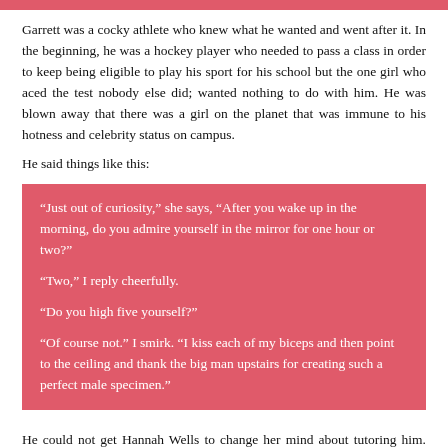Garrett was a cocky athlete who knew what he wanted and went after it. In the beginning, he was a hockey player who needed to pass a class in order to keep being eligible to play his sport for his school but the one girl who aced the test nobody else did; wanted nothing to do with him. He was blown away that there was a girl on the planet that was immune to his hotness and celebrity status on campus.
He said things like this:
“Just out of curiosity,” she says, “After you wake up in the morning, do you admire yourself in the mirror for one hour or two?”
“Two,” I reply cheerfully.
“Do you high five yourself?”
“Of course not.” I smirk. “I kiss each of my biceps and then point to the ceiling and thank the big man upstairs for creating such a perfect male specimen.”
He could not get Hannah Wells to change her mind about tutoring him. Nothing worked on her but he didn’t give up. He found out what she wanted most and offered an exchange. For her help in class, he would help her land the most he wanted. The